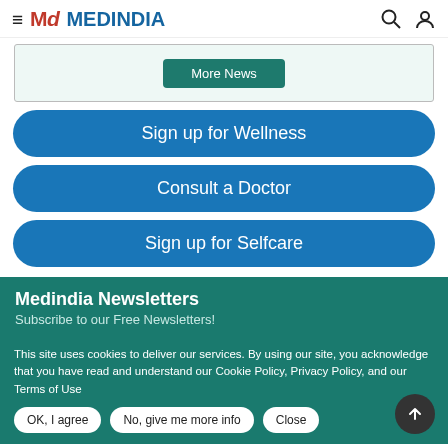≡ MD MEDINDIA
[Figure (screenshot): More News button inside a light green bordered box]
Sign up for Wellness
Consult a Doctor
Sign up for Selfcare
Medindia Newsletters
Subscribe to our Free Newsletters!
This site uses cookies to deliver our services. By using our site, you acknowledge that you have read and understand our Cookie Policy, Privacy Policy, and our Terms of Use
OK, I agree | No, give me more info | Close